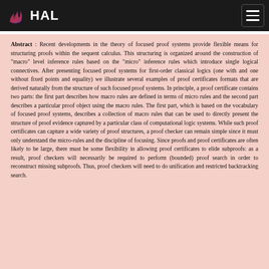HAL
Abstract : Recent developments in the theory of focused proof systems provide flexible means for structuring proofs within the sequent calculus. This structuring is organized around the construction of "macro" level inference rules based on the "micro" inference rules which introduce single logical connectives. After presenting focused proof systems for first-order classical logics (one with and one without fixed points and equality) we illustrate several examples of proof certificates formats that are derived naturally from the structure of such focused proof systems. In principle, a proof certificate contains two parts: the first part describes how macro rules are defined in terms of micro rules and the second part describes a particular proof object using the macro rules. The first part, which is based on the vocabulary of focused proof systems, describes a collection of macro rules that can be used to directly present the structure of proof evidence captured by a particular class of computational logic systems. While such proof certificates can capture a wide variety of proof structures, a proof checker can remain simple since it must only understand the micro-rules and the discipline of focusing. Since proofs and proof certificates are often likely to be large, there must be some flexibility in allowing proof certificates to elide subproofs: as a result, proof checkers will necessarily be required to perform (bounded) proof search in order to reconstruct missing subproofs. Thus, proof checkers will need to do unification and restricted backtracking search.